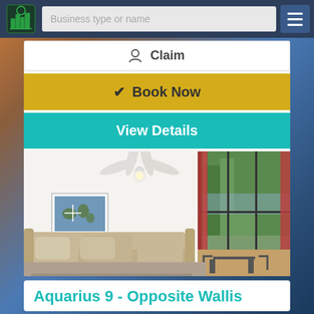Business type or name
Claim
Book Now
View Details
[Figure (photo): Interior room photo showing a living room with a ceiling fan, a sofa, a framed picture on the wall, and large sliding glass doors opening to a balcony with outdoor furniture and trees in the background with red curtains.]
Aquarius 9 - Opposite Wallis